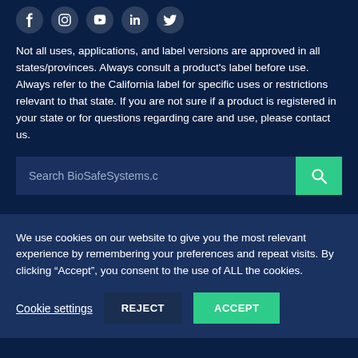[Figure (other): Row of social media icons: Facebook, Instagram, YouTube, LinkedIn, Twitter]
Not all uses, applications, and label versions are approved in all states/provinces. Always consult a product's label before use. Always refer to the California label for specific uses or restrictions relevant to that state. If you are not sure if a product is registered in your state or for questions regarding care and use, please contact us.
[Figure (other): Search bar with placeholder text 'Search BioSafeSystems.c' and a green search button with magnifying glass icon]
We use cookies on our website to give you the most relevant experience by remembering your preferences and repeat visits. By clicking “Accept”, you consent to the use of ALL the cookies.
Cookie settings  REJECT  ACCEPT